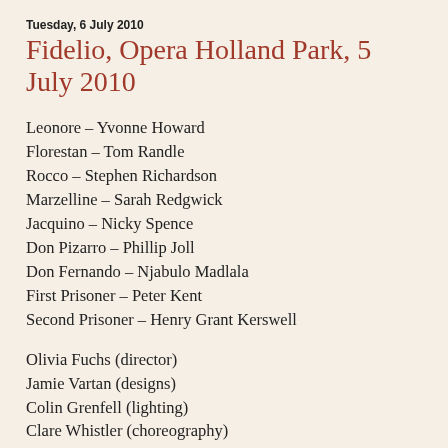Tuesday, 6 July 2010
Fidelio, Opera Holland Park, 5 July 2010
Leonore – Yvonne Howard
Florestan – Tom Randle
Rocco – Stephen Richardson
Marzelline – Sarah Redgwick
Jacquino – Nicky Spence
Don Pizarro – Phillip Joll
Don Fernando – Njabulo Madlala
First Prisoner – Peter Kent
Second Prisoner – Henry Grant Kerswell
Olivia Fuchs (director)
Jamie Vartan (designs)
Colin Grenfell (lighting)
Clare Whistler (choreography)
Opera Holland Park Chorus
City of London Sinfonia
Peter Robinson (conductor)